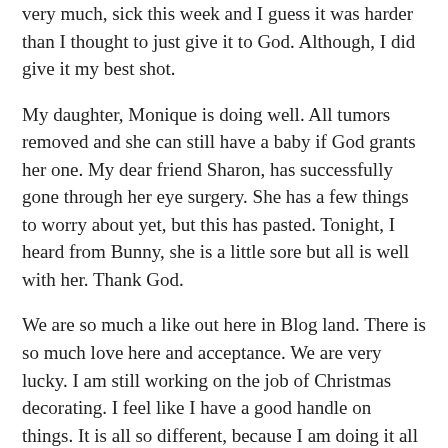very much, sick this week and I guess it was harder than I thought to just give it to God. Although, I did give it my best shot.
My daughter, Monique is doing well. All tumors removed and she can still have a baby if God grants her one. My dear friend Sharon, has successfully gone through her eye surgery. She has a few things to worry about yet, but this has pasted. Tonight, I heard from Bunny, she is a little sore but all is well with her. Thank God.
We are so much a like out here in Blog land. There is so much love here and acceptance. We are very lucky. I am still working on the job of Christmas decorating. I feel like I have a good handle on things. It is all so different, because I am doing it all with Noah in mind. This pictures are just a little more peeks at the whole transformation. Blessings to you my dear friends and thank you for every prayer you said on my behalf and on behalf of my family and friends.
There is one more thing I just have to show you, I got a present, for no apparent reason (the best kind) from